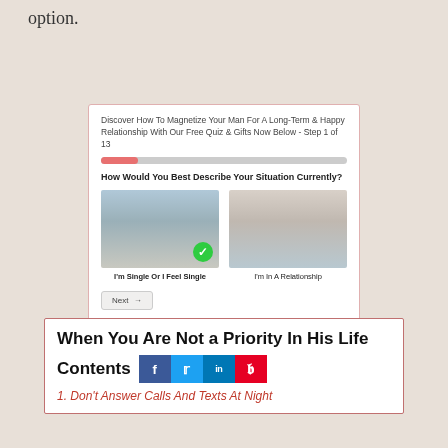option.
[Figure (screenshot): Quiz widget asking 'How Would You Best Describe Your Situation Currently?' with two image options: 'I'm Single Or I Feel Single' (selected with green checkmark) and 'I'm In A Relationship'. Includes a progress bar showing Step 1 of 13 and a Next button.]
When You Are Not a Priority In His Life
Contents
1. Don't Answer Calls And Texts At Night